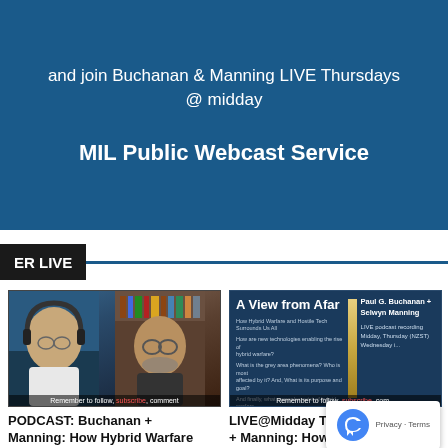and join Buchanan & Manning LIVE Thursdays @ midday
MIL Public Webcast Service
ER LIVE
[Figure (photo): Two men on a video call — left man wearing headphones against a blue sky background, right man with glasses against a bookshelf background. Caption reads 'Remember to follow, subscribe, comment']
[Figure (photo): Branded slide for 'A View from Afar' podcast featuring Paul G. Buchanan + Selwyn Manning, with text about Hybrid Warfare and Hostile Tech. LIVE podcast recording, Midday, Thursday (NZST). Caption reads 'Remember to follow, subscribe, com...']
PODCAST: Buchanan + Manning: How Hybrid Warfare...
LIVE@Midday Thurs Bu... + Manning: How Hybrid Warfa...